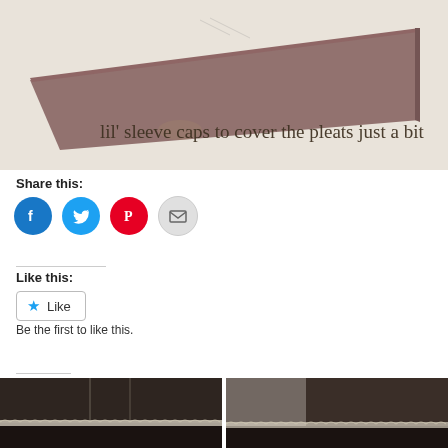[Figure (photo): A triangular piece of brown fabric (sleeve cap) on a light surface, with text overlay: 'lil' sleeve caps to cover the pleats just a bit']
Share this:
[Figure (infographic): Social sharing icons: Facebook (blue circle), Twitter (blue circle), Pinterest (red circle), Email (grey circle)]
Like this:
[Figure (infographic): WordPress Like button with star icon]
Be the first to like this.
[Figure (photo): Two partial photos of decorative fabric/clothing with lace trim at the bottom of the page]